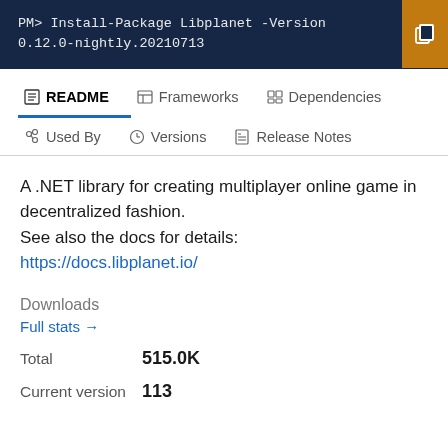PM> Install-Package Libplanet -Version 0.12.0-nightly.20210713
README | Frameworks | Dependencies | Used By | Versions | Release Notes
A .NET library for creating multiplayer online game in decentralized fashion.
See also the docs for details:
https://docs.libplanet.io/
Downloads
Full stats →
Total   515.0K
Current version   113